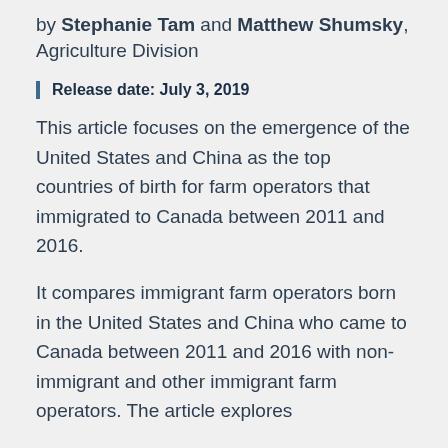by Stephanie Tam and Matthew Shumsky, Agriculture Division
Release date: July 3, 2019
This article focuses on the emergence of the United States and China as the top countries of birth for farm operators that immigrated to Canada between 2011 and 2016.
It compares immigrant farm operators born in the United States and China who came to Canada between 2011 and 2016 with non-immigrant and other immigrant farm operators. The article explores